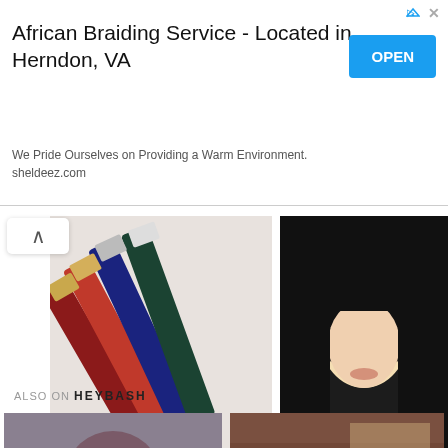[Figure (infographic): Advertisement banner for African Braiding Service located in Herndon, VA with an OPEN button and website sheldeez.com]
African Braiding Service - Located in Herndon, VA
We Pride Ourselves on Providing a Warm Environment. sheldeez.com
[Figure (photo): Cosmetic lip gloss/liquid lipstick products in red, navy blue, and dark teal laid out on a white surface]
[Figure (photo): Woman wearing a black hijab, close-up portrait showing face and neck]
ALSO ON HEYBASH
[Figure (photo): Woman with short wavy hair, profile view, with text overlay '3 years ago • 5 comments' and title 'Did Instagram']
[Figure (photo): Travel scene with text overlay '3 years ago • 1 comm' and title 'A Travel Guide to Busan, South']